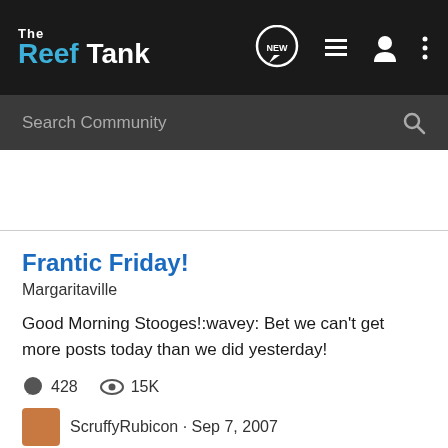The Reef Tank
Search Community
Frantic Friday!
Margaritaville
Good Morning Stooges!:wavey: Bet we can't get more posts today than we did yesterday!
428   15K
ScruffyRubicon · Sep 7, 2007
button polyp
button polyps
hot magnum
leather coral
maxima clam
monti cap
mother colony
orange monti
zoa frags